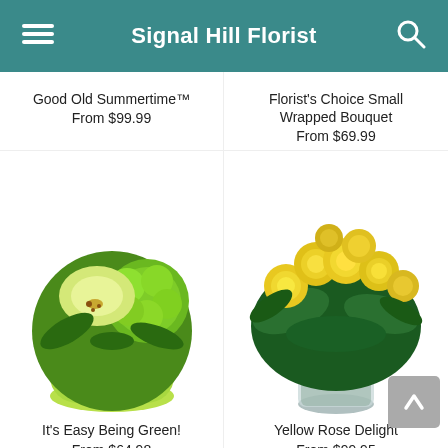Signal Hill Florist
Good Old Summertime™
From $99.99
Florist's Choice Small Wrapped Bouquet
From $69.99
[Figure (photo): Green floral arrangement with orchid and chrysanthemums in a lime-green pot]
It's Easy Being Green!
From $64.98
[Figure (photo): Yellow roses bouquet in a clear glass vase with green foliage]
Yellow Rose Delight
From $99.95